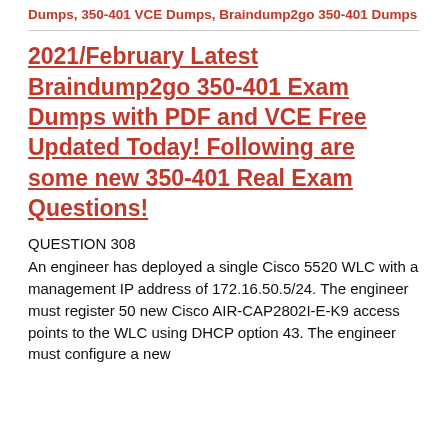Dumps, 350-401 VCE Dumps, Braindump2go 350-401 Dumps
2021/February Latest Braindump2go 350-401 Exam Dumps with PDF and VCE Free Updated Today! Following are some new 350-401 Real Exam Questions!
QUESTION 308
An engineer has deployed a single Cisco 5520 WLC with a management IP address of 172.16.50.5/24. The engineer must register 50 new Cisco AIR-CAP2802I-E-K9 access points to the WLC using DHCP option 43. The engineer must configure a new